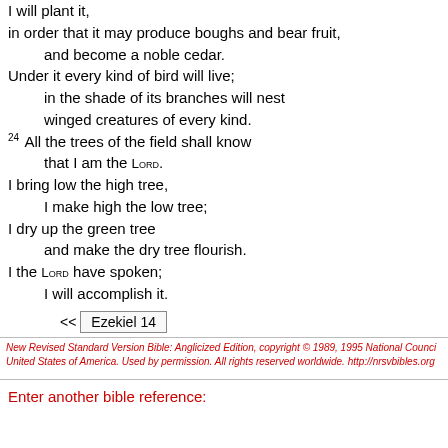I will plant it;
in order that it may produce boughs and bear fruit,
    and become a noble cedar.
Under it every kind of bird will live;
    in the shade of its branches will nest
    winged creatures of every kind.
24 All the trees of the field shall know
    that I am the LORD.
I bring low the high tree,
    I make high the low tree;
I dry up the green tree
    and make the dry tree flourish.
I the LORD have spoken;
    I will accomplish it.
<< Ezekiel 14
New Revised Standard Version Bible: Anglicized Edition, copyright © 1989, 1995 National Council of the Churches of Christ in the United States of America. Used by permission. All rights reserved worldwide. http://nrsvbibles.org
Enter another bible reference: